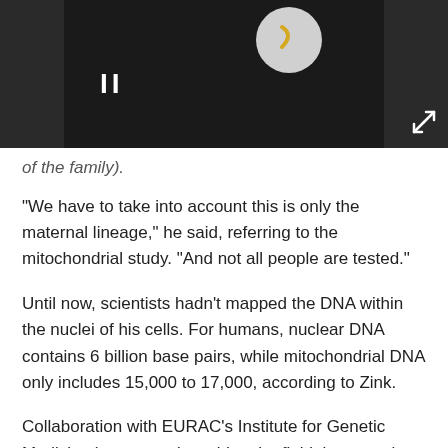[Figure (screenshot): Video player bar with dark background, pause button (II), circular logo icon, and expand/fullscreen arrow icon in bottom right corner]
of the family).
"We have to take into account this is only the maternal lineage," he said, referring to the mitochondrial study. "And not all people are tested."
Until now, scientists hadn't mapped the DNA within the nuclei of his cells. For humans, nuclear DNA contains 6 billion base pairs, while mitochondrial DNA only includes 15,000 to 17,000, according to Zink.
Collaboration with EURAC's Institute for Genetic Medicine is expected to widen the field, because it has collected genetic information on a large number of people living in the region, the most likely prospects